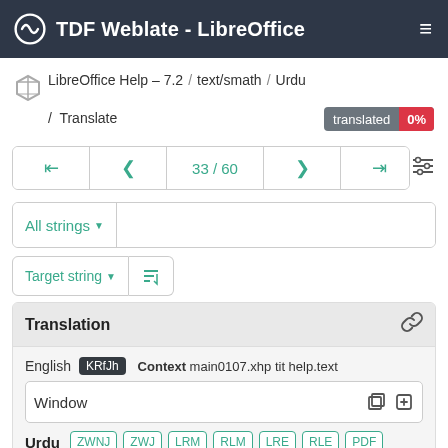TDF Weblate - LibreOffice
LibreOffice Help – 7.2 / text/smath / Urdu / Translate  translated 0%
33 / 60
All strings
Target string
Translation
English KRfJh  Context main0107.xhp tit help.text
Window
Urdu  ZWNJ  ZWJ  LRM  RLM  LRE  RLE  PDF  LRO  RLO